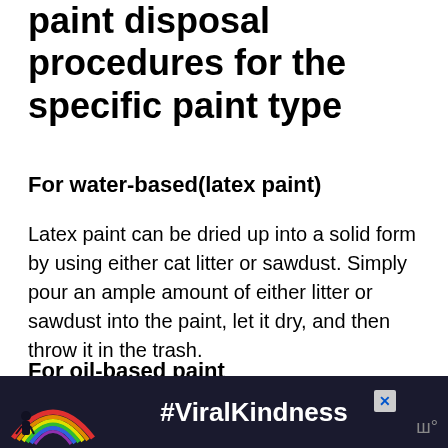paint disposal procedures for the specific paint type
For water-based(latex paint)
Latex paint can be dried up into a solid form by using either cat litter or sawdust. Simply pour an ample amount of either litter or sawdust into the paint, let it dry, and then throw it in the trash.
For oil-based paint
Oil-based paint is toxic waste, so you'll most likely need to take it local government facility or waste
[Figure (other): Advertisement banner with rainbow illustration and #ViralKindness text on dark background]